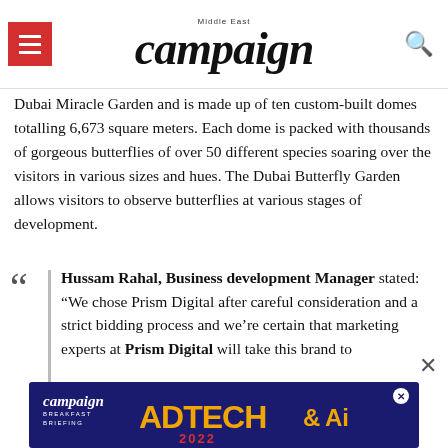campaign Middle East
Dubai Miracle Garden and is made up of ten custom-built domes totalling 6,673 square meters. Each dome is packed with thousands of gorgeous butterflies of over 50 different species soaring over the visitors in various sizes and hues. The Dubai Butterfly Garden allows visitors to observe butterflies at various stages of development.
Hussam Rahal, Business development Manager stated: "We chose Prism Digital after careful consideration and a strict bidding process and we're certain that marketing experts at Prism Digital will take this brand to the next level by effectively reaching our target
[Figure (screenshot): Campaign Middle East AdTech & AI 2022 Breakfast Briefing advertisement banner]